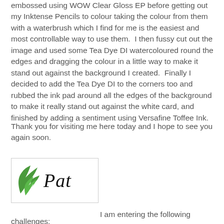embossed using WOW Clear Gloss EP before getting out my Inktense Pencils to colour taking the colour from them with a waterbrush which I find for me is the easiest and most controllable way to use them.  I then fussy cut out the image and used some Tea Dye DI watercoloured round the edges and dragging the colour in a little way to make it stand out against the background I created.  Finally I decided to add the Tea Dye DI to the corners too and rubbed the ink pad around all the edges of the background to make it really stand out against the white card, and finished by adding a sentiment using Versafine Toffee Ink.
Thank you for visiting me here today and I hope to see you again soon.
[Figure (logo): Logo with green leaf illustration on the left and cursive 'Pat' text in black on the right, inside a light grey border box.]
I am entering the following challenges: